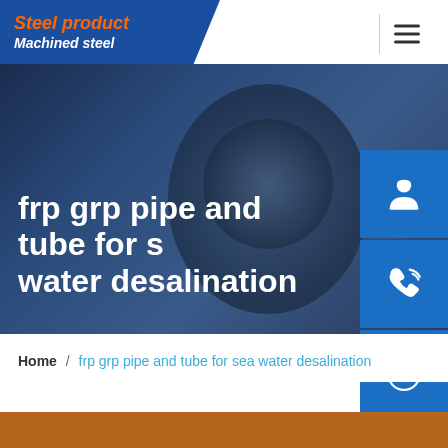Steel product / Machined steel
[Figure (screenshot): Hero banner with dark blue background showing industrial pipe/turbine machinery. Large white bold text reads 'frp grp pipe and tube for sea water desalination'. Three blue sidebar buttons with icons for customer service (headset), phone, and Skype.]
Home / frp grp pipe and tube for sea water desalination
[Figure (photo): Partial bottom strip showing an industrial/product photo]